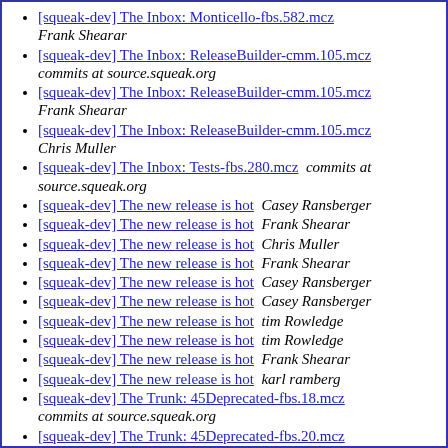[squeak-dev] The Inbox: Monticello-fbs.582.mcz  Frank Shearar
[squeak-dev] The Inbox: ReleaseBuilder-cmm.105.mcz  commits at source.squeak.org
[squeak-dev] The Inbox: ReleaseBuilder-cmm.105.mcz  Frank Shearar
[squeak-dev] The Inbox: ReleaseBuilder-cmm.105.mcz  Chris Muller
[squeak-dev] The Inbox: Tests-fbs.280.mcz  commits at source.squeak.org
[squeak-dev] The new release is hot  Casey Ransberger
[squeak-dev] The new release is hot  Frank Shearar
[squeak-dev] The new release is hot  Chris Muller
[squeak-dev] The new release is hot  Frank Shearar
[squeak-dev] The new release is hot  Casey Ransberger
[squeak-dev] The new release is hot  Casey Ransberger
[squeak-dev] The new release is hot  tim Rowledge
[squeak-dev] The new release is hot  tim Rowledge
[squeak-dev] The new release is hot  Frank Shearar
[squeak-dev] The new release is hot  karl ramberg
[squeak-dev] The Trunk: 45Deprecated-fbs.18.mcz  commits at source.squeak.org
[squeak-dev] The Trunk: 45Deprecated-fbs.20.mcz  commits at source.squeak.org
[squeak-dev] The Trunk: 45Deprecated-fbs.21.mcz